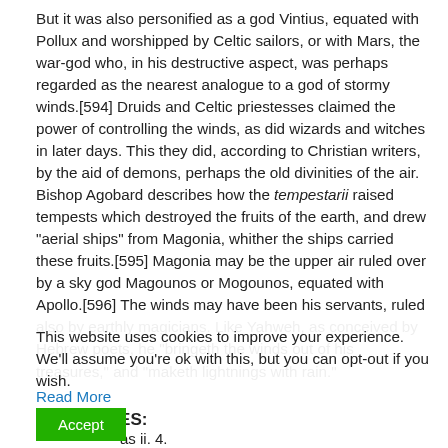But it was also personified as a god Vintius, equated with Pollux and worshipped by Celtic sailors, or with Mars, the war-god who, in his destructive aspect, was perhaps regarded as the nearest analogue to a god of stormy winds.[594] Druids and Celtic priestesses claimed the power of controlling the winds, as did wizards and witches in later days. This they did, according to Christian writers, by the aid of demons, perhaps the old divinities of the air. Bishop Agobard describes how the tempestarii raised tempests which destroyed the fruits of the earth, and drew "aerial ships" from Magonia, whither the ships carried these fruits.[595] Magonia may be the upper air ruled over by a sky god Magounos or Mogounos, equated with Apollo.[596] The winds may have been his servants, ruled also by earthly magicians. Like Yahweh, as conceived by Hebrew poets, he "bringeth the winds out of his treasures," and "maketh lightnings with rain."
This website uses cookies to improve your experience. We'll assume you're ok with this, but you can opt-out if you wish.
Read More
FOOTNOTES:
Accept
as ii. 4.